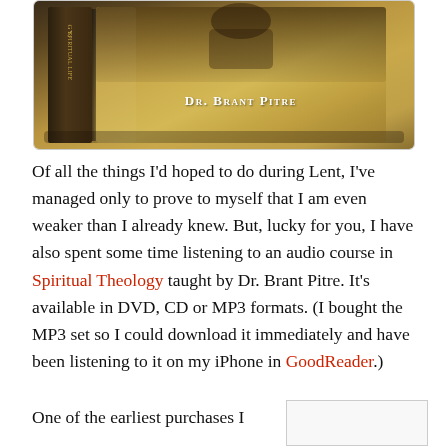[Figure (photo): Book set product image for Spiritual Theology audio course by Dr. Brant Pitre, showing a gold-colored DVD/CD box set with the author's name displayed in small caps white text on the cover.]
Of all the things I’d hoped to do during Lent, I’ve managed only to prove to myself that I am even weaker than I already knew. But, lucky for you, I have also spent some time listening to an audio course in Spiritual Theology taught by Dr. Brant Pitre. It’s available in DVD, CD or MP3 formats. (I bought the MP3 set so I could download it immediately and have been listening to it on my iPhone in GoodReader.)
One of the earliest purchases I